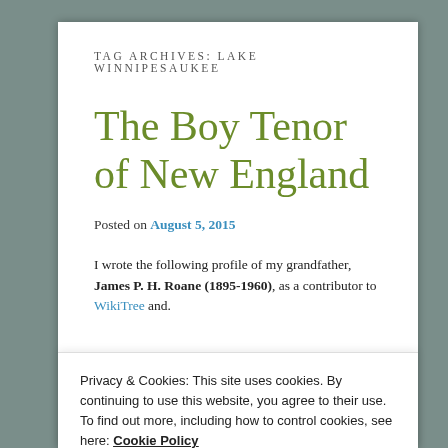TAG ARCHIVES: LAKE WINNIPESAUKEE
The Boy Tenor of New England
Posted on August 5, 2015
I wrote the following profile of my grandfather, James P. H. Roane (1895-1960), as a contributor to WikiTree and.
Privacy & Cookies: This site uses cookies. By continuing to use this website, you agree to their use.
To find out more, including how to control cookies, see here: Cookie Policy
Close and accept